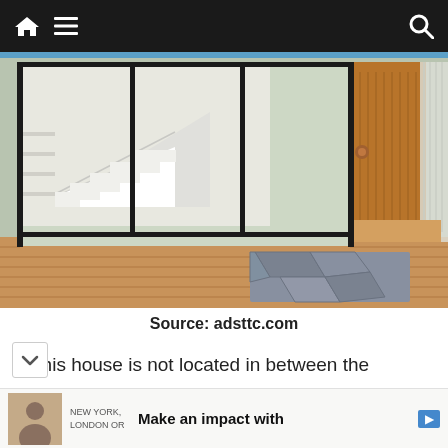Navigation bar with home icon, menu icon, and search icon
[Figure (photo): Interior of a modern house showing glass sliding doors, a wooden door, hardwood flooring both inside and on an exterior deck, a staircase visible through the glass, and a stone/slate doormat. White curtain on the right side.]
Source: adsttc.com
This house is not located in between the woods but still it has a beautiful touch of nature which went so well with the modern structure of the
Make an impact with [advertisement - NEW YORK, LONDON OR]